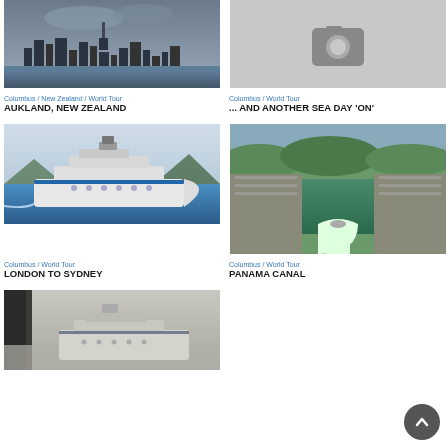[Figure (photo): Auckland city skyline with skyscrapers against cloudy sky, viewed from water]
Columbus / New Zealand / World Tour
AUKLAND, NEW ZEALAND
[Figure (photo): Gray placeholder with camera icon]
Columbus / World Tour
... AND ANOTHER SEA DAY 'ON'
[Figure (photo): Cruise ship Columbus at sea with white hull against blue water and mountains]
Columbus / World Tour
LONDON TO SYDNEY
[Figure (photo): Aerial view of Panama Canal locks with ship passing through green canal]
Columbus / World Tour
PANAMA CANAL
[Figure (photo): Cruise ship in foggy misty harbor conditions]